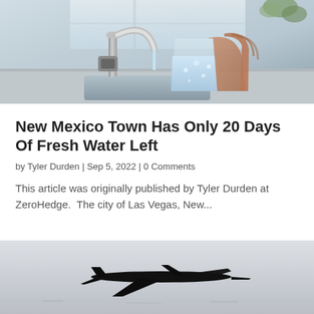[Figure (photo): A hand holding a glass being filled with water from a kitchen faucet, with a water filter visible on the sink counter, bright window in background.]
New Mexico Town Has Only 20 Days Of Fresh Water Left
by Tyler Durden | Sep 5, 2022 | 0 Comments
This article was originally published by Tyler Durden at ZeroHedge.  The city of Las Vegas, New...
[Figure (photo): Silhouette of an airplane in flight against a light grey sky background, partially cropped at bottom of page.]